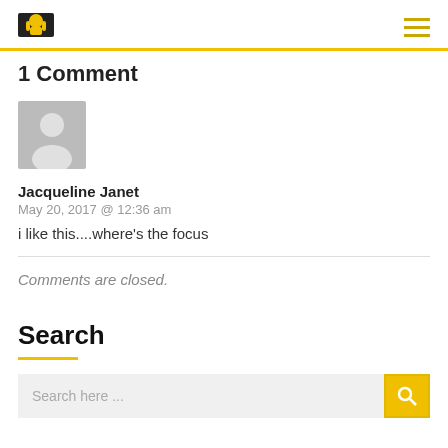[Logo] [Hamburger menu]
1 Comment
[Figure (illustration): Gray placeholder avatar icon showing a silhouette of a person]
Jacqueline Janet
May 20, 2017 @ 12:36 am
i like this....where's the focus
Comments are closed.
Search
Search here ...